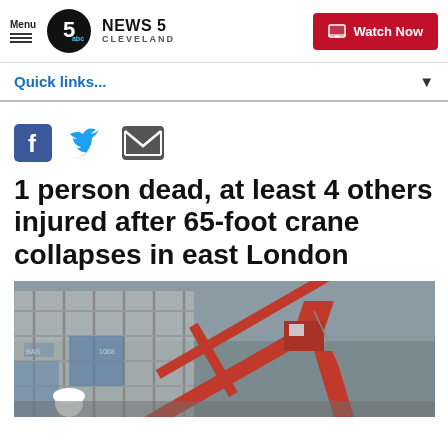Menu | NEWS 5 CLEVELAND | Watch Now
Quick links...
[Figure (other): Social share icons: Facebook, Twitter, Email]
1 person dead, at least 4 others injured after 65-foot crane collapses in east London
[Figure (photo): Photo of a collapsed red crane on a construction site with scaffolding, overcast sky in background]